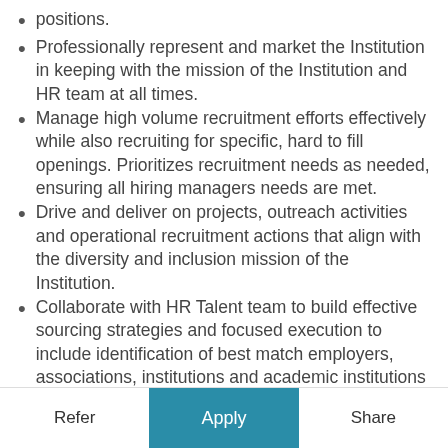positions.
Professionally represent and market the Institution in keeping with the mission of the Institution and HR team at all times.
Manage high volume recruitment efforts effectively while also recruiting for specific, hard to fill openings. Prioritizes recruitment needs as needed, ensuring all hiring managers needs are met.
Drive and deliver on projects, outreach activities and operational recruitment actions that align with the diversity and inclusion mission of the Institution.
Collaborate with HR Talent team to build effective sourcing strategies and focused execution to include identification of best match employers, associations, institutions and academic institutions to mine for candidates.
Build and maintain network of passive candidates...